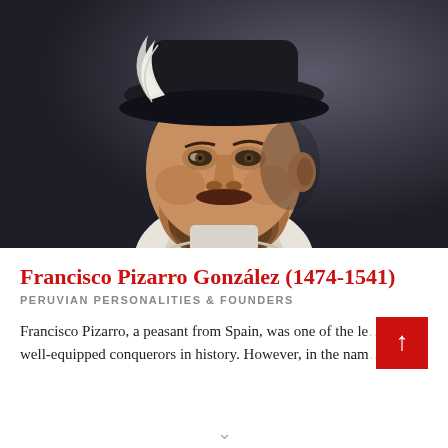[Figure (photo): Portrait painting of Francisco Pizarro González, a bearded man wearing a dark hat with white feather, shown from shoulders up against a dark background.]
Francisco Pizarro González (1474-1541)
PERUVIAN PERSONALITIES & FOUNDERS
Francisco Pizarro, a peasant from Spain, was one of the le... well-equipped conquerors in history. However, in the nam...